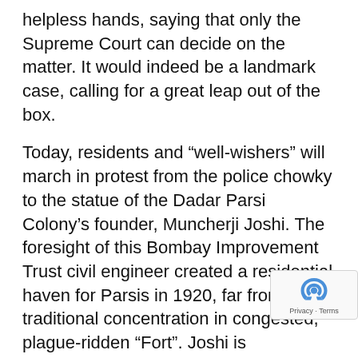helpless hands, saying that only the Supreme Court can decide on the matter. It would indeed be a landmark case, calling for a great leap out of the box.
Today, residents and “well-wishers” will march in protest from the police chowky to the statue of the Dadar Parsi Colony’s founder, Muncherji Joshi. The foresight of this Bombay Improvement Trust civil engineer created a residential haven for Parsis in 1920, far from their traditional concentration in congested, plague-ridden “Fort”. Joshi is remembered gratefully by their descendants who live in the spacious, airy, three-storied houses cosseted by a benign and profuse botanica: not just the spreading rain trees or the banyan – “wad” which gave Wadala its name, but also rare ebony and mahogany.